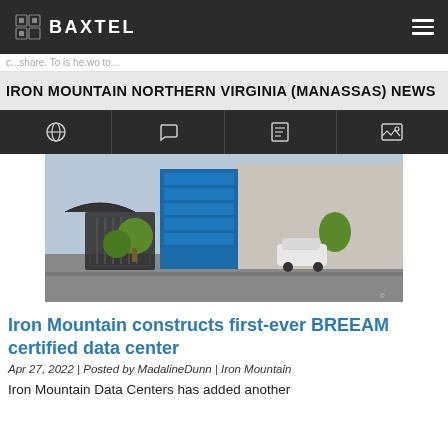BAXTEL
c...share. To is he.wo to...
IRON MOUNTAIN NORTHERN VIRGINIA (MANASSAS) NEWS
[Figure (photo): Architectural rendering of a modern data center building with blue glass facade, security gate, cars, and trees in a parking lot area]
Iron Mountain constructs first-ever BREEAM certified data center
Apr 27, 2022 | Posted by MadalineDunn | Iron Mountain
Iron Mountain Data Centers has added another